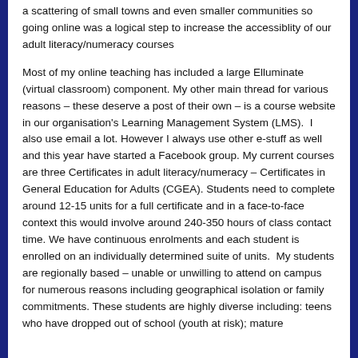a scattering of small towns and even smaller communities so going online was a logical step to increase the accessiblity of our adult literacy/numeracy courses
Most of my online teaching has included a large Elluminate (virtual classroom) component. My other main thread for various reasons – these deserve a post of their own – is a course website in our organisation's Learning Management System (LMS).  I also use email a lot. However I always use other e-stuff as well and this year have started a Facebook group. My current courses are three Certificates in adult literacy/numeracy – Certificates in General Education for Adults (CGEA). Students need to complete around 12-15 units for a full certificate and in a face-to-face context this would involve around 240-350 hours of class contact time. We have continuous enrolments and each student is enrolled on an individually determined suite of units.  My students are regionally based – unable or unwilling to attend on campus for numerous reasons including geographical isolation or family commitments. These students are highly diverse including: teens who have dropped out of school (youth at risk); mature